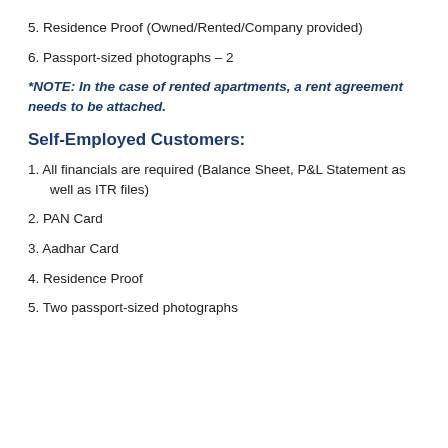5. Residence Proof (Owned/Rented/Company provided)
6. Passport-sized photographs – 2
*NOTE: In the case of rented apartments, a rent agreement needs to be attached.
Self-Employed Customers:
1. All financials are required (Balance Sheet, P&L Statement as well as ITR files)
2. PAN Card
3. Aadhar Card
4. Residence Proof
5. Two passport-sized photographs